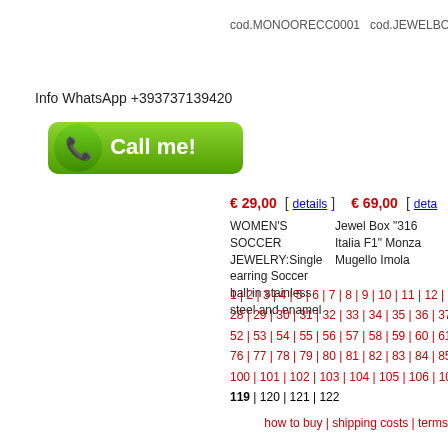cod.MONOORECC0001   cod.JEWELBOXF1MMI
Info WhatsApp +393737139420
[Figure (illustration): Green 'Call me!' button with white phone icon]
€ 29,00  [ details ]   € 69,00  [ deta
WOMEN'S SOCCER JEWELRY:Single earring Soccer ball in stainless steel and enamel
Jewel Box "316 Italia F1" Monza Mugello Imola
1 | 2 | 3 | 4 | 5 | 6 | 7 | 8 | 9 | 10 | 11 | 12 | 13 | 1 | 28 | 29 | 30 | 31 | 32 | 33 | 34 | 35 | 36 | 37 | 38 | 52 | 53 | 54 | 55 | 56 | 57 | 58 | 59 | 60 | 61 | 62 | 76 | 77 | 78 | 79 | 80 | 81 | 82 | 83 | 84 | 85 | 86 | 100 | 101 | 102 | 103 | 104 | 105 | 106 | 107 | 10 | 119 | 120 | 121 | 122
how to buy | shipping costs | terms